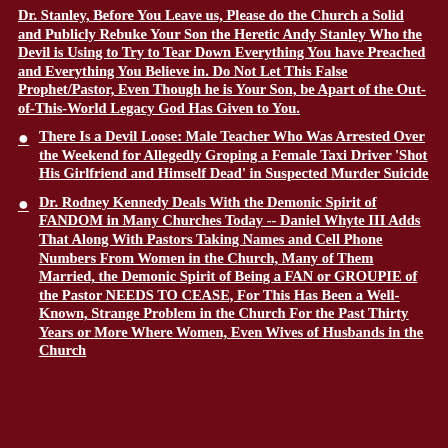Dr. Stanley, Before You Leave us, Please do the Church a Solid and Publicly Rebuke Your Son the Heretic Andy Stanley Who the Devil is Using to Try to Tear Down Everything You have Preached and Everything You Believe in. Do Not Let This False Prophet/Pastor, Even Though he is Your Son, be Apart of the Out-of-This-World Legacy God Has Given to You.
There Is a Devil Loose: Male Teacher Who Was Arrested Over the Weekend for Allegedly Groping a Female Taxi Driver 'Shot His Girlfriend and Himself Dead' in Suspected Murder Suicide
Dr. Rodney Kennedy Deals With the Demonic Spirit of FANDOM in Many Churches Today -- Daniel Whyte III Adds That Along With Pastors Taking Names and Cell Phone Numbers From Women in the Church, Many of Them Married, the Demonic Spirit of Being a FAN or GROUPIE of the Pastor NEEDS TO CEASE, For This Has Been a Well-Known, Strange Problem in the Church For the Past Thirty Years or More Where Women, Even Wives of Husbands in the Church